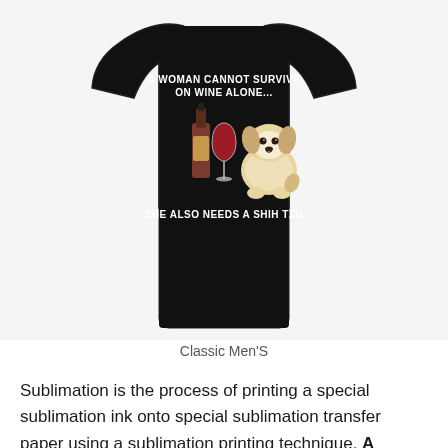[Figure (photo): A black t-shirt displayed on a model or mannequin. The back of the shirt shows text at the top reading 'A WOMAN CANNOT SURVIVE ON WINE ALONE...' in white lettering, an illustration of a wine bottle, a wine glass with red wine, and a fluffy Shih Tzu dog, with text at the bottom reading 'SHE ALSO NEEDS A SHIH TZU'.]
Classic Men'S
Sublimation is the process of printing a special sublimation ink onto special sublimation transfer paper using a sublimation printing technique. A